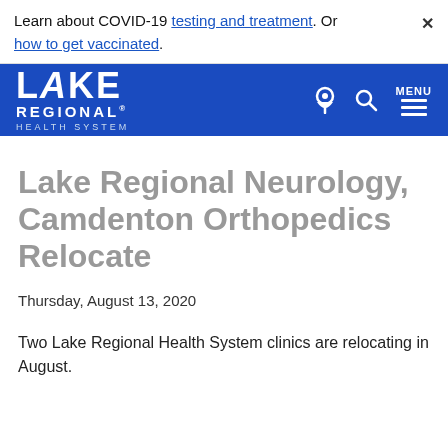Learn about COVID-19 testing and treatment. Or how to get vaccinated.
[Figure (logo): Lake Regional Health System logo — white text on blue background with location pin, search, and menu icons]
Lake Regional Neurology, Camdenton Orthopedics Relocate
Thursday, August 13, 2020
Two Lake Regional Health System clinics are relocating in August.